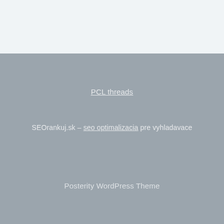PCL threads
SEOrankuj.sk – seo optimalizacia pre vyhladavace
Posterity WordPress Theme